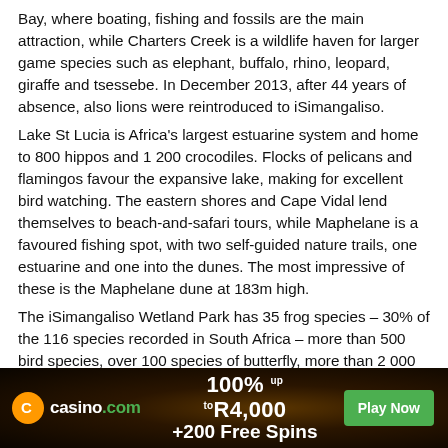Bay, where boating, fishing and fossils are the main attraction, while Charters Creek is a wildlife haven for larger game species such as elephant, buffalo, rhino, leopard, giraffe and tsessebe. In December 2013, after 44 years of absence, also lions were reintroduced to iSimangaliso.
Lake St Lucia is Africa's largest estuarine system and home to 800 hippos and 1 200 crocodiles. Flocks of pelicans and flamingos favour the expansive lake, making for excellent bird watching. The eastern shores and Cape Vidal lend themselves to beach-and-safari tours, while Maphelane is a favoured fishing spot, with two self-guided nature trails, one estuarine and one into the dunes. The most impressive of these is the Maphelane dune at 183m high.
The iSimangaliso Wetland Park has 35 frog species – 30% of the 116 species recorded in South Africa – more than 500 bird species, over 100 species of butterfly, more than 2 000 species of flowering plants and all five of South Africa's surviving mangrove tree species.
[Figure (infographic): Casino.com advertisement banner: orange logo circle with C, casino.com text in white/green, offer text '100% up to R4,000 +200 Free Spins', green 'Play Now' button, dark brown smoky background.]